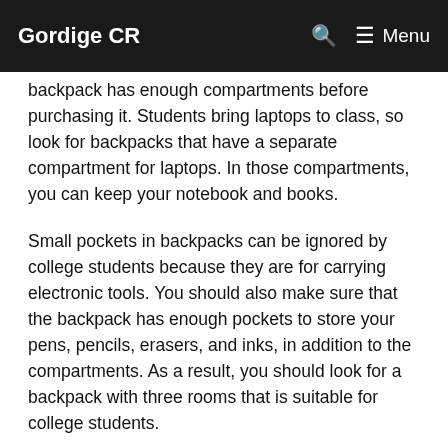Gordige CR  🔍  ≡ Menu
backpack has enough compartments before purchasing it. Students bring laptops to class, so look for backpacks that have a separate compartment for laptops. In those compartments, you can keep your notebook and books.
Small pockets in backpacks can be ignored by college students because they are for carrying electronic tools. You should also make sure that the backpack has enough pockets to store your pens, pencils, erasers, and inks, in addition to the compartments. As a result, you should look for a backpack with three rooms that is suitable for college students.